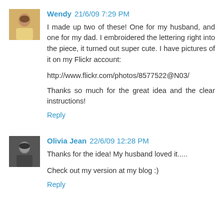Wendy 21/6/09 7:29 PM
I made up two of these! One for my husband, and one for my dad. I embroidered the lettering right into the piece, it turned out super cute. I have pictures of it on my Flickr account:
http://www.flickr.com/photos/8577522@N03/
Thanks so much for the great idea and the clear instructions!
Reply
Olivia Jean 22/6/09 12:28 PM
Thanks for the idea! My husband loved it.....
Check out my version at my blog :)
Reply